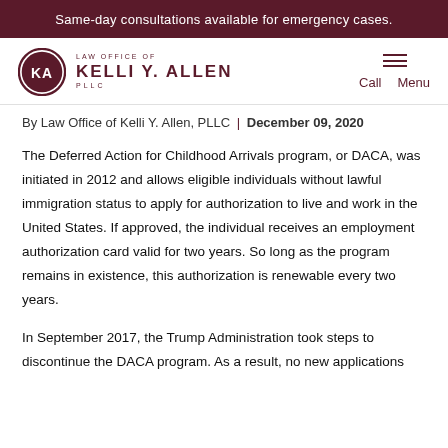Same-day consultations available for emergency cases.
[Figure (logo): Law Office of Kelli Y. Allen, PLLC logo with circular KA monogram and navigation menu icon]
By Law Office of Kelli Y. Allen, PLLC | December 09, 2020
The Deferred Action for Childhood Arrivals program, or DACA, was initiated in 2012 and allows eligible individuals without lawful immigration status to apply for authorization to live and work in the United States. If approved, the individual receives an employment authorization card valid for two years. So long as the program remains in existence, this authorization is renewable every two years.
In September 2017, the Trump Administration took steps to discontinue the DACA program. As a result, no new applications